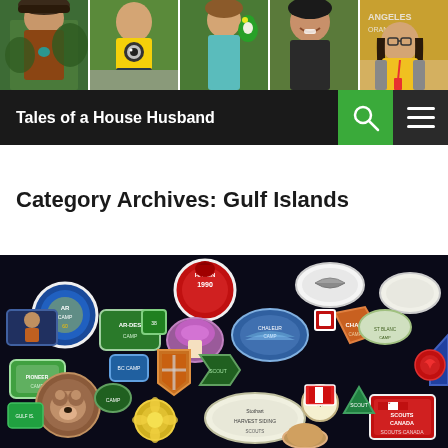[Figure (photo): Header photo strip with 5 photos of people including children and adults outdoors]
Tales of a House Husband
Category Archives: Gulf Islands
[Figure (photo): Photo of scout/scouting badges and patches spread on a dark fabric surface]